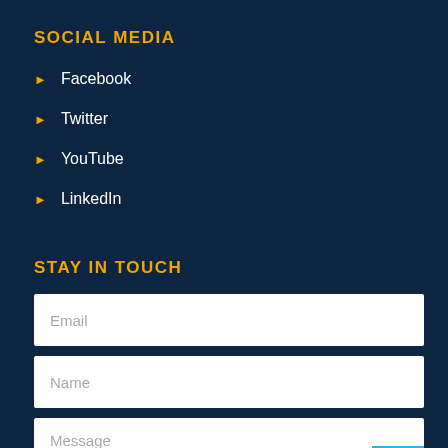SOCIAL MEDIA
Facebook
Twitter
YouTube
LinkedIn
STAY IN TOUCH
Email
Name
Message